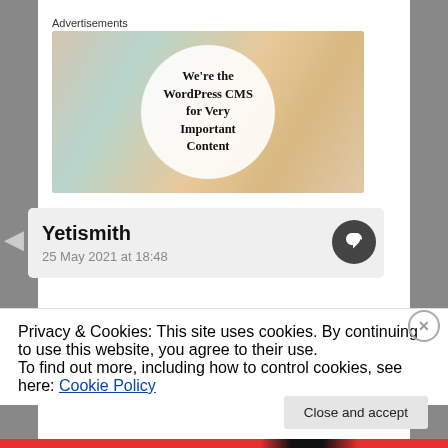Advertisements
[Figure (illustration): WordPress CMS advertisement banner showing various brand cards (Meta, Facebook, Capgemini, etc.) scattered around a white circle with text 'We're the WordPress CMS for Very Important Content']
Yetismith
25 May 2021 at 18:48
Privacy & Cookies: This site uses cookies. By continuing to use this website, you agree to their use.
To find out more, including how to control cookies, see here: Cookie Policy
Close and accept